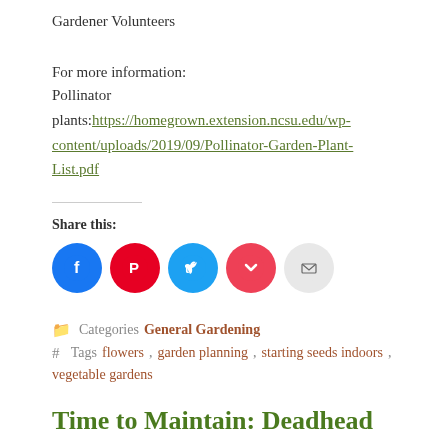Gardener Volunteers
For more information:
Pollinator plants:https://homegrown.extension.ncsu.edu/wp-content/uploads/2019/09/Pollinator-Garden-Plant-List.pdf
[Figure (infographic): Five social share icon buttons: Facebook (blue circle with f), Pinterest (red circle with P), Twitter (blue circle with bird), Pocket (red circle with chevron), Email (gray circle with envelope)]
Share this:
Categories General Gardening
Tags flowers, garden planning, starting seeds indoors, vegetable gardens
Time to Maintain: Deadhead